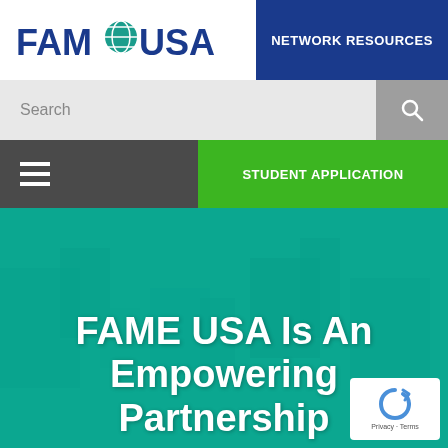[Figure (logo): FAME USA logo with globe icon between FAM and USA in dark blue bold text]
NETWORK RESOURCES
Search
[Figure (illustration): Hamburger menu icon (three horizontal white lines) on dark gray background]
STUDENT APPLICATION
[Figure (photo): Industrial/manufacturing facility background with teal color overlay showing robotic equipment]
FAME USA Is An Empowering Partnership